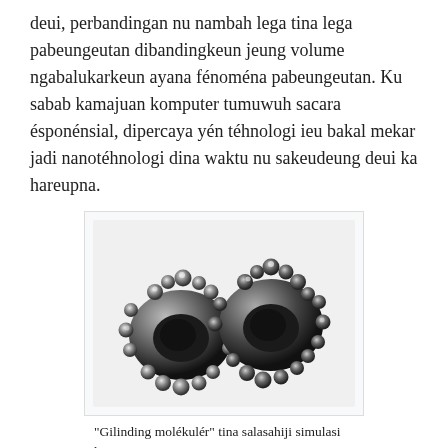deui, perbandingan nu nambah lega tina lega pabeungeutan dibandingkeun jeung volume ngabalukarkeun ayana fénoména pabeungeutan. Ku sabab kamajuan komputer tumuwuh sacara ésponénsial, dipercaya yén téhnologi ieu bakal mekar jadi nanotéhnologi dina waktu nu sakeudeung deui ka hareupna.
[Figure (illustration): Molecular gear illustration — two interlocking gear-like molecular structures made of spherical atoms, rendered in grayscale, from a computer simulation.]
"Gilinding molékulér" tina salasahiji simulasi komputer NASA.
Dina fiksi jeung média, "nanotéhnologi" sering ngarujuk kana nanotéhnologi molekulér hipotésis (molecular